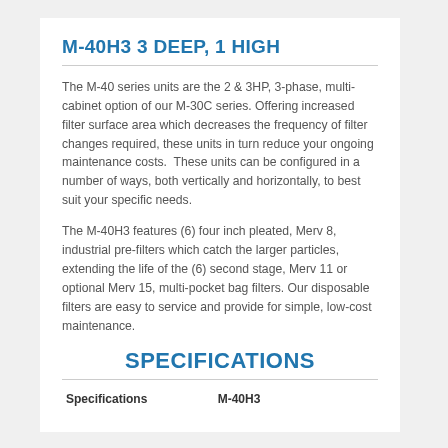M-40H3 3 DEEP, 1 HIGH
The M-40 series units are the 2 & 3HP, 3-phase, multi-cabinet option of our M-30C series. Offering increased filter surface area which decreases the frequency of filter changes required, these units in turn reduce your ongoing maintenance costs.  These units can be configured in a number of ways, both vertically and horizontally, to best suit your specific needs.
The M-40H3 features (6) four inch pleated, Merv 8, industrial pre-filters which catch the larger particles, extending the life of the (6) second stage, Merv 11 or optional Merv 15, multi-pocket bag filters. Our disposable filters are easy to service and provide for simple, low-cost maintenance.
SPECIFICATIONS
| Specifications | M-40H3 |
| --- | --- |